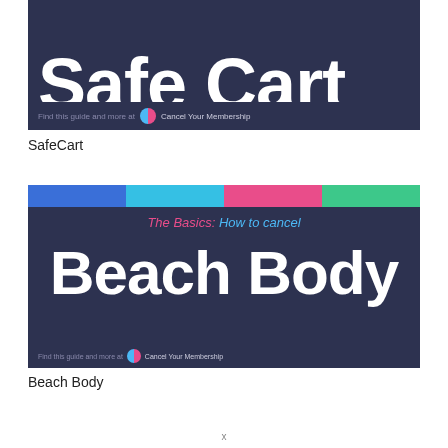[Figure (screenshot): SafeCart membership cancellation guide cover image with large white 'Safe Cart' text on dark navy background, with 'Find this guide and more at Cancel Your Membership' footer bar]
SafeCart
[Figure (screenshot): Beach Body membership cancellation guide cover image with four colored bars (blue, cyan, pink, green) at top, subtitle 'The Basics: How to cancel' in pink and blue italic text, and large white bold 'Beach Body' text on dark navy background]
Beach Body